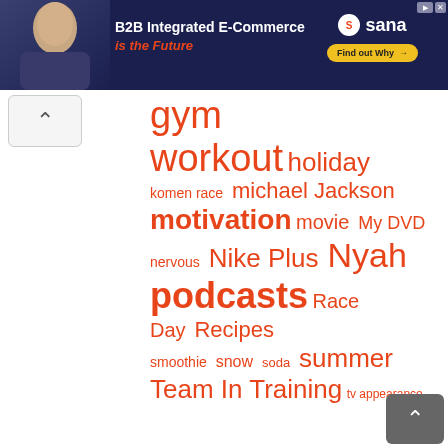[Figure (infographic): Banner advertisement for Sana B2B Integrated E-Commerce with man photo, text 'B2B Integrated E-Commerce is the Future', Sana logo, and Find out Why button]
gym workout holiday komen race michael Jackson motivation movie My DVD nervous Nike Plus Nyah podcasts Race Day Recipes smoothie snow soda summer Team In Training tv appearance Vacation Video Walking at Work Weigh-In weight loss work Workout Buddy Yoga
[Figure (infographic): Scroll up button (caret/arrow up) top left, scroll down button bottom right]